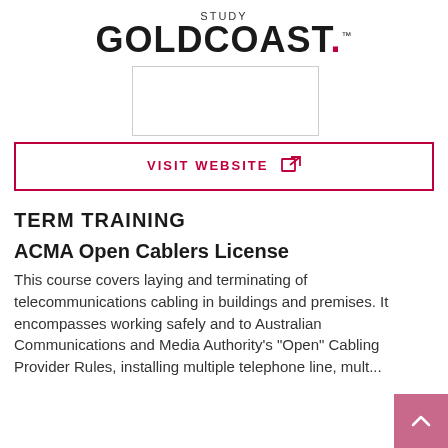STUDY GOLDCOAST.™
[Figure (other): Rectangular image placeholder with border]
VISIT WEBSITE [external link icon]
TERM TRAINING
ACMA Open Cablers License
This course covers laying and terminating of telecommunications cabling in buildings and premises. It encompasses working safely and to Australian Communications and Media Authority's "Open" Cabling Provider Rules, installing multiple telephone line, mult...